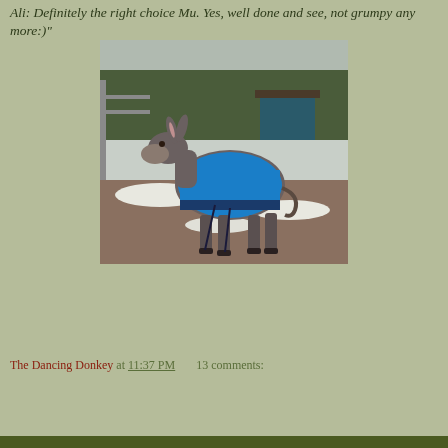Ali: Definitely the right choice Mu. Yes, well done and see, not grumpy any more:)"
[Figure (photo): A donkey wearing a blue horse blanket/rug standing in a snowy paddock with trees and a building in the background]
The Dancing Donkey at 11:37 PM    13 comments:
Share